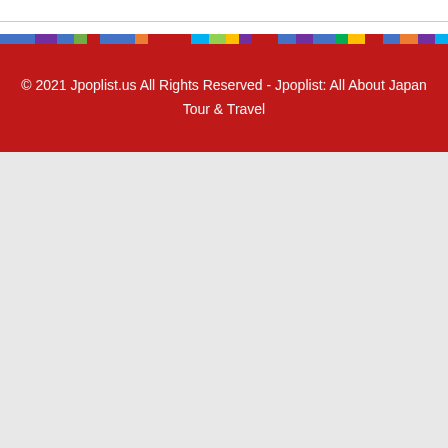© 2021 Jpoplist.us All Rights Reserved - Jpoplist: All About Japan Tour & Travel